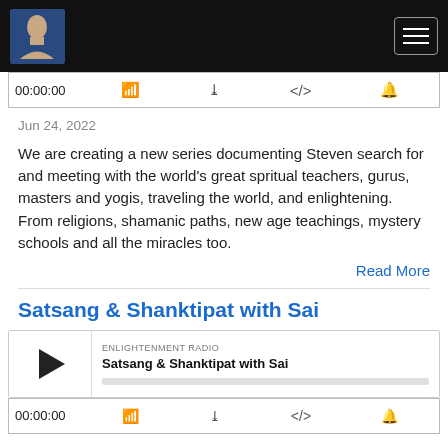Enlightenment Radio navigation bar with logo and hamburger menu
00:00:00
Jun 24, 2022
We are creating a new series documenting Steven search for and meeting with the world's great spritual teachers, gurus, masters and yogis, traveling the world, and enlightening. From religions, shamanic paths, new age teachings, mystery schools and all the miracles too.
Read More
Satsang & Shanktipat with Sai
[Figure (screenshot): Podcast player widget showing ENLIGHTENMENT RADIO label, episode title Satsang & Shanktipat with Sai, play button, and progress bar]
00:00:00